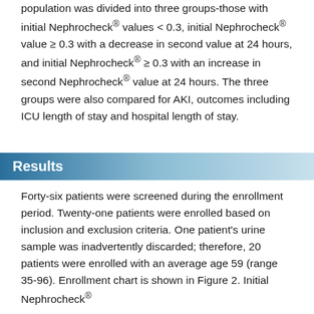population was divided into three groups-those with initial Nephrocheck® values < 0.3, initial Nephrocheck® value ≥ 0.3 with a decrease in second value at 24 hours, and initial Nephrocheck® ≥ 0.3 with an increase in second Nephrocheck® value at 24 hours. The three groups were also compared for AKI, outcomes including ICU length of stay and hospital length of stay.
Results
Forty-six patients were screened during the enrollment period. Twenty-one patients were enrolled based on inclusion and exclusion criteria. One patient's urine sample was inadvertently discarded; therefore, 20 patients were enrolled with an average age 59 (range 35-96). Enrollment chart is shown in Figure 2. Initial Nephrocheck®